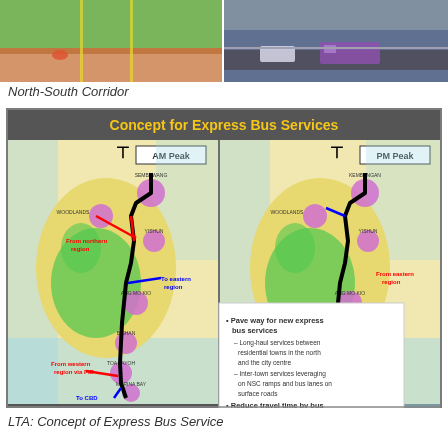[Figure (photo): Two side-by-side aerial photos of the North-South Corridor road infrastructure]
North-South Corridor
[Figure (map): LTA Concept for Express Bus Services showing AM Peak and PM Peak maps of Singapore with routes from northern, western, and eastern regions to CBD, with bullet points: Pave way for new express bus services - Long-haul services between residential towns in the north and the city centre - Inter-town services leveraging on NSC ramps and bus lanes on surface roads; Reduce travel time by bus by up to 30min from the north to the city centre compared to today]
LTA: Concept of Express Bus Service